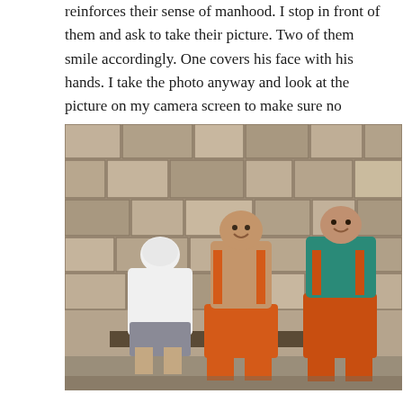reinforces their sense of manhood. I stop in front of them and ask to take their picture. Two of them smile accordingly. One covers his face with his hands. I take the photo anyway and look at the picture on my camera screen to make sure no tourist walked into my shot.
[Figure (photo): Three men sitting against a stone wall. The man on the left is wearing a white long-sleeve shirt and grey shorts, covering his face with his hands. The man in the center is shirtless and smiling, wearing orange overalls. The man on the right is wearing a teal shirt and orange overalls, holding something and smiling.]